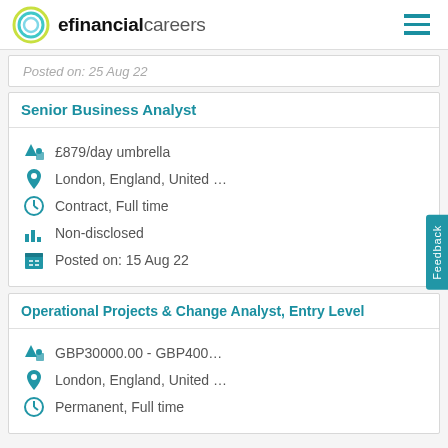efinancialcareers
Posted on: 25 Aug 22
Senior Business Analyst
£879/day umbrella
London, England, United ...
Contract, Full time
Non-disclosed
Posted on: 15 Aug 22
Operational Projects & Change Analyst, Entry Level
GBP30000.00 - GBP400...
London, England, United ...
Permanent, Full time